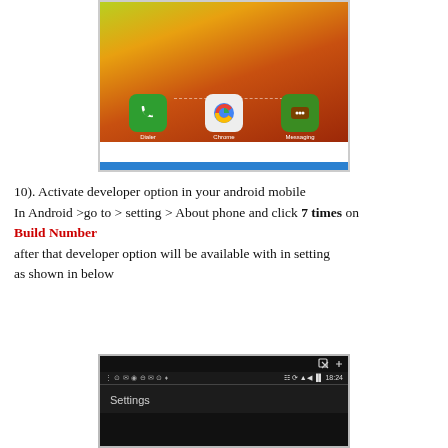[Figure (screenshot): Android phone home screen showing Dialer, Chrome, and Messaging app icons on an orange-yellow gradient background]
10). Activate developer option in your android mobile
In Android >go to > setting > About phone and click 7 times on Build Number
after that developer option will be available with in setting
as shown in below
[Figure (screenshot): Android Settings screen showing status bar with time 18:24 and Settings label]